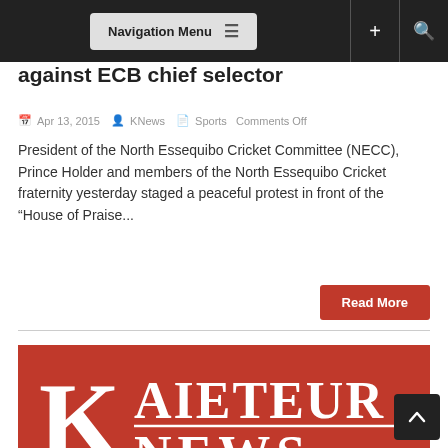Navigation Menu
against ECB chief selector
Apr 13, 2015  KNews  Sports Comments Off
President of the North Essequibo Cricket Committee (NECC), Prince Holder and members of the North Essequibo Cricket fraternity yesterday staged a peaceful protest in front of the “House of Praise...
Read More
[Figure (logo): Kaieteur News logo — white serif text 'KAIETEUR NEWS' with large K on red background]